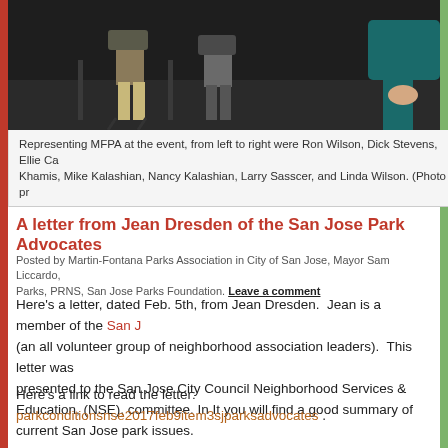[Figure (photo): Photo of people seated at an event, representing MFPA members including Ron Wilson, Dick Stevens, Ellie Ca, Khamis, Mike Kalashian, Nancy Kalashian, Larry Sasscer, and Linda Wilson. Dark background with people in foreground.]
Representing MFPA at the event, from left to right were Ron Wilson, Dick Stevens, Ellie Ca Khamis, Mike Kalashian, Nancy Kalashian, Larry Sasscer, and Linda Wilson. (Photo pr
A letter from Jean Dresden of the San Jose Park Advocates
Posted by Martin-Fontana Parks Association in City of San Jose, Mayor Sam Liccardo, Parks, PRNS, San Jose Parks Foundation. Leave a comment
Here’s a letter, dated Feb. 5th, from Jean Dresden.  Jean is a member of the San J (an all volunteer group of neighborhood association leaders).  This letter was presented to the San Jose City Council Neighborhood Services & Education, (NSE), committee. In It you will find a good summary of current San Jose park issues.
Here’s a link to read the letter: parkconditionsnse2017feb9item3sjparksadvocates .